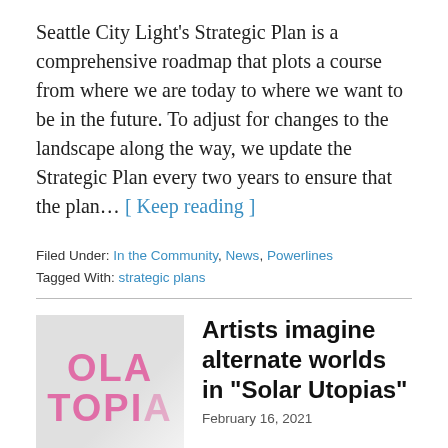Seattle City Light's Strategic Plan is a comprehensive roadmap that plots a course from where we are today to where we want to be in the future. To adjust for changes to the landscape along the way, we update the Strategic Plan every two years to ensure that the plan… [ Keep reading ]
Filed Under: In the Community, News, Powerlines
Tagged With: strategic plans
[Figure (illustration): Thumbnail image showing pink text 'SOLAR UTOPIA' on a light gray gradient background, partially visible]
Artists imagine alternate worlds in "Solar Utopias"
February 16, 2021